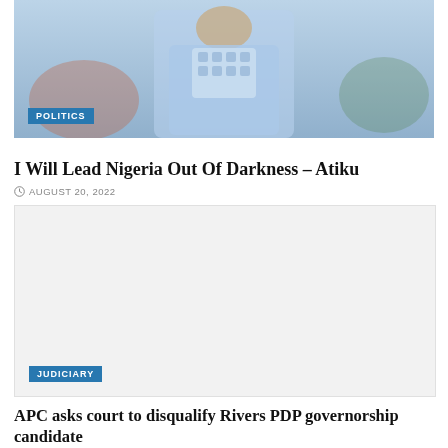[Figure (photo): Person in light blue traditional attire sitting on a decorative chair/sofa]
POLITICS
I Will Lead Nigeria Out Of Darkness – Atiku
AUGUST 20, 2022
[Figure (photo): Large light grey placeholder image area]
JUDICIARY
APC asks court to disqualify Rivers PDP governorship candidate